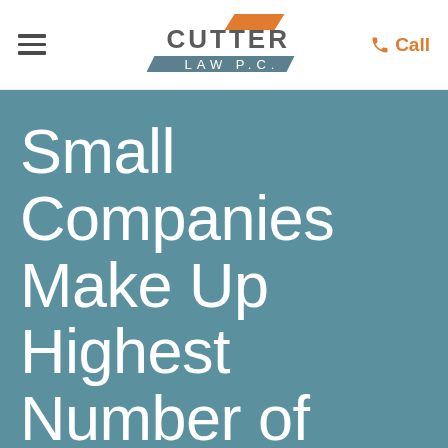[Figure (logo): Cutter Law P.C. logo with orange parallelogram and teal/slate banner accent]
Small Companies Make Up Highest Number of